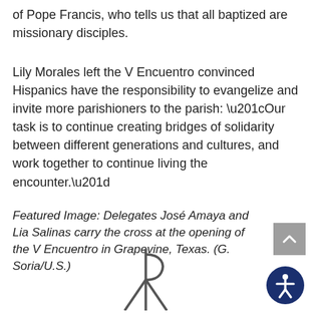of Pope Francis, who tells us that all baptized are missionary disciples.
Lily Morales left the V Encuentro convinced Hispanics have the responsibility to evangelize and invite more parishioners to the parish: “Our task is to continue creating bridges of solidarity between different generations and cultures, and work together to continue living the encounter.”
Featured Image: Delegates José Amaya and Lia Salinas carry the cross at the opening of the V Encuentro in Grapevine, Texas. (G. Soria/U.S.)
[Figure (logo): Chi Rho / cross-like religious symbol (X with vertical line) in dark gray]
[Figure (logo): Accessibility icon: blue circle with white human figure, representing accessibility options]